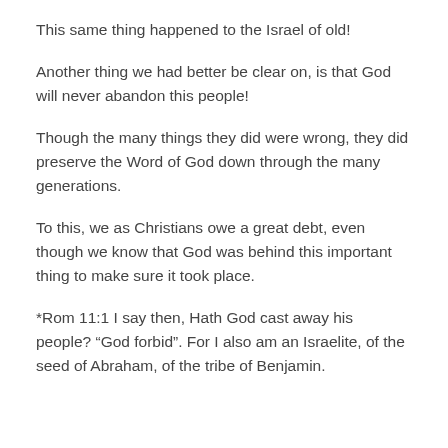This same thing happened to the Israel of old!
Another thing we had better be clear on, is that God will never abandon this people!
Though the many things they did were wrong, they did preserve the Word of God down through the many generations.
To this, we as Christians owe a great debt, even though we know that God was behind this important thing to make sure it took place.
*Rom 11:1 I say then, Hath God cast away his people? “God forbid”. For I also am an Israelite, of the seed of Abraham, of the tribe of Benjamin.